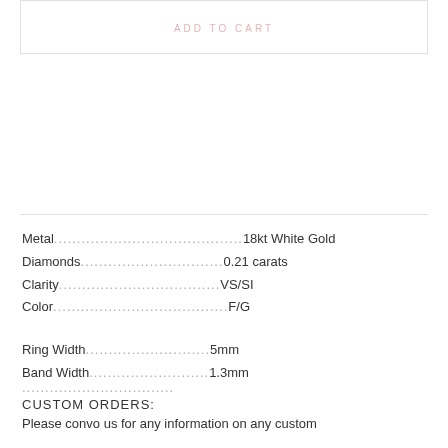ADD TO CART
Metal....................................18kt White Gold
Diamonds...............................0.21 carats
Clarity.......................................VS/SI
Color.........................................F/G
Ring Width..............................5mm
Band Width.............................1.3mm
......................................
CUSTOM ORDERS:
Please convo us for any information on any custom